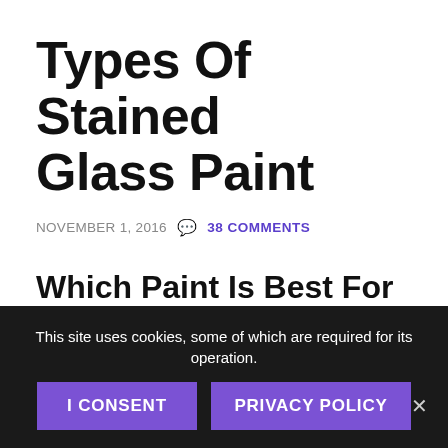Types Of Stained Glass Paint
NOVEMBER 1, 2016  38 COMMENTS
Which Paint Is Best For Your Project?
Painting glass allows you to add infinite amounts of detail and texture to your stained glasswork. It opens up a whole variety of effects to you. It is fired permanently
This site uses cookies, some of which are required for its operation.
I CONSENT
PRIVACY POLICY